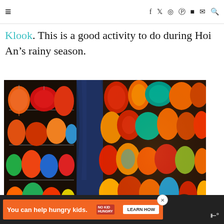≡  f  𝕏  📷  𝕡  ▶  ✉  🔍
Klook. This is a good activity to do during Hoi An's rainy season.
[Figure (photo): A person sitting at a stall surrounded by many colorful traditional Vietnamese silk lanterns hanging from the ceiling and walls, photographed in Hoi An, Vietnam.]
WHAT'S NEXT → 21 things to do near...
[Figure (infographic): Advertisement bar: orange background with text 'You can help hungry kids.' No Kid Hungry logo and LEARN HOW button]